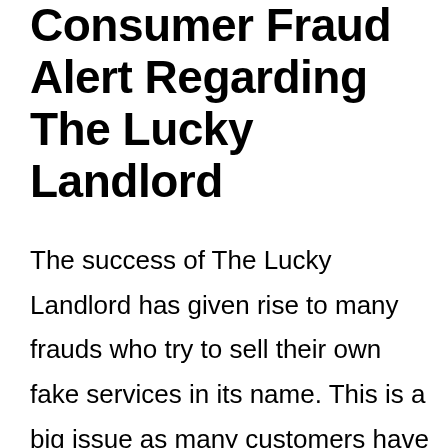Consumer Fraud Alert Regarding The Lucky Landlord
The success of The Lucky Landlord has given rise to many frauds who try to sell their own fake services in its name. This is a big issue as many customers have lost their money in joining from such fake sites. It is advised that customers should be really careful when they are joining and should do some research before they join from any